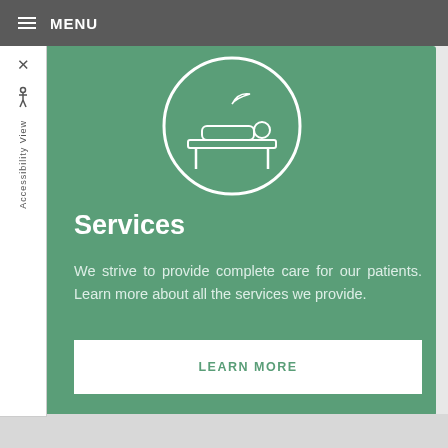≡ MENU
[Figure (illustration): Medical/patient icon inside a white circle outline on green background, showing a person lying on a treatment table]
Services
We strive to provide complete care for our patients. Learn more about all the services we provide.
LEARN MORE